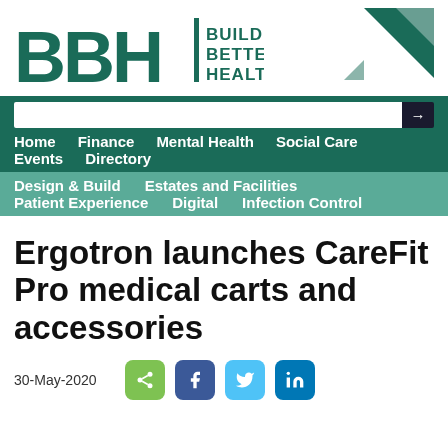[Figure (logo): BBH Building Better Healthcare logo with green triangle graphic]
Home   Finance   Mental Health   Social Care   Events   Directory
Design & Build   Estates and Facilities   Patient Experience   Digital   Infection Control
Ergotron launches CareFit Pro medical carts and accessories
30-May-2020